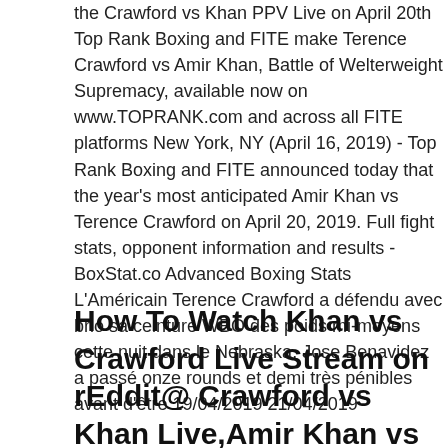the Crawford vs Khan PPV Live on April 20th Top Rank Boxing and FITE make Terence Crawford vs Amir Khan, Battle of Welterweight Supremacy, available now on www.TOPRANK.com and across all FITE platforms New York, NY (April 16, 2019) - Top Rank Boxing and FITE announced today that the year's most anticipated Amir Khan vs Terence Crawford on April 20, 2019. Full fight stats, opponent information and results - BoxStat.co Advanced Boxing Stats L'Américain Terence Crawford a défendu avec brio sa ceinture WBO des poids mi-moyens cette nuit dans le Nebraska. Jose Benavidez a passé onze rounds et demi très pénibles avant d'être 19/04/2019 21/04/2019
How To Watch Khan vs Crawford Live Stream on rEddit@ Crawford vs Khan Live,Amir Khan vs Terence Crawford Live,Terence Crawford vs Amir Khan